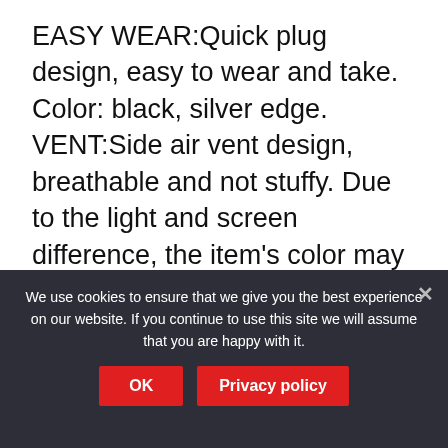EASY WEAR:Quick plug design, easy to wear and take. Color: black, silver edge. VENT:Side air vent design, breathable and not stuffy. Due to the light and screen difference, the item's color may be slightly different from the pictures.
[Figure (photo): Black trucker/riding helmet cap with side vent design, viewed from a front-side angle against a white background. The cap appears dark black with structured panels and visible ventilation slots on the side.]
We use cookies to ensure that we give you the best experience on our website. If you continue to use this site we will assume that you are happy with it.